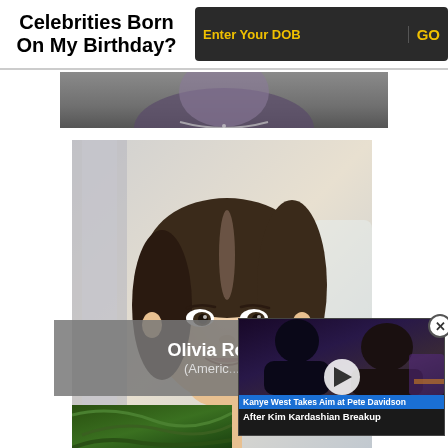Celebrities Born On My Birthday?
Enter Your DOB
GO
[Figure (photo): Partial photo of a person with necklace, cropped at top of page]
[Figure (photo): Photo of Olivia Rodrigo as a young girl smiling, with brown hair]
Olivia Ro... (Americ...
[Figure (screenshot): Video overlay showing Kanye West and Kim Kardashian with play button]
Kanye West Takes Aim at Pete Davidson After Kim Kardashian Breakup
[Figure (photo): Partial photo at bottom of page showing green foliage]